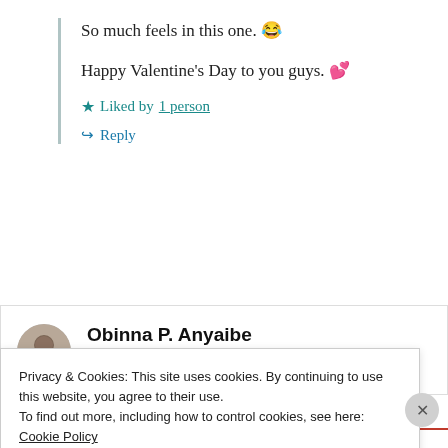So much feels in this one. 😂
Happy Valentine's Day to you guys. 💕
★ Liked by 1 person
↪ Reply
Obinna P. Anyaibe
Privacy & Cookies: This site uses cookies. By continuing to use this website, you agree to their use.
To find out more, including how to control cookies, see here:
Cookie Policy
Close and accept